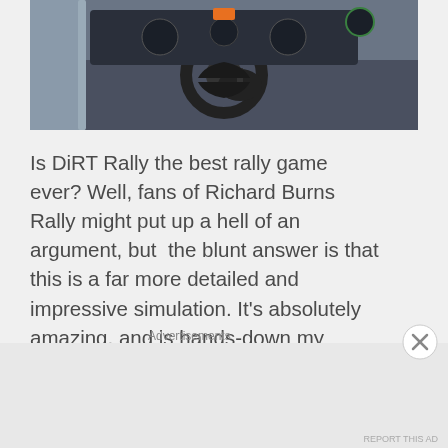[Figure (photo): Interior cockpit view of a rally car, showing steering wheel, dashboard instruments, and cockpit details]
Is DiRT Rally the best rally game ever? Well, fans of Richard Burns Rally might put up a hell of an argument, but the blunt answer is that this is a far more detailed and impressive simulation. It's absolutely amazing, and is hands-down my favorite racing game in years, delivering on its promise of on-the-edge racing. Every moment is downright thrilling, and it incredibly frustrating because I clearly don't have a natural talent for playing it, nearly rage quitting at every mistake which left my car nearly destroyed or that left me twenty seconds down. Is
Advertisements